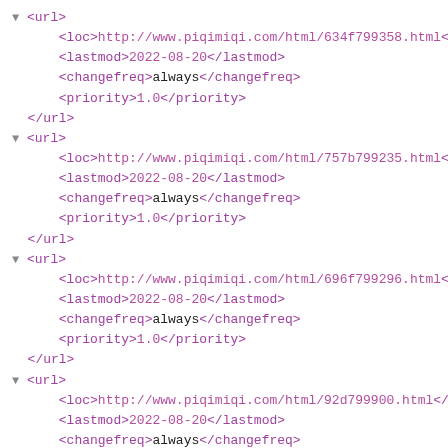XML sitemap code showing 5 <url> entries for www.piqimiqi.com with lastmod 2022-08-20, changefreq always, priority 1.0
[Figure (screenshot): XML sitemap source code showing repeated <url> blocks each containing <loc>, <lastmod>, <changefreq>, and <priority> child elements displayed in a browser XML viewer with purple/magenta colored tags and gray triangle expand icons.]